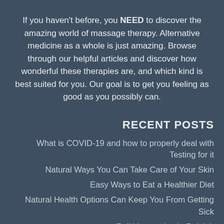If you haven't before, you NEED to discover the amazing world of massage therapy. Alternative medicine as a whole is just amazing. Browse through our helpful articles and discover how wonderful these therapies are, and which kind is best suited for you. Our goal is to get you feeling as good as you possibly can.
RECENT POSTS
What is COVID-19 and how to properly deal with Testing for it
Natural Ways You Can Take Care of Your Skin
Easy Ways to Eat a Healthier Diet
Natural Health Options Can Keep You From Getting Sick
Reiki Instruction in Raleigh